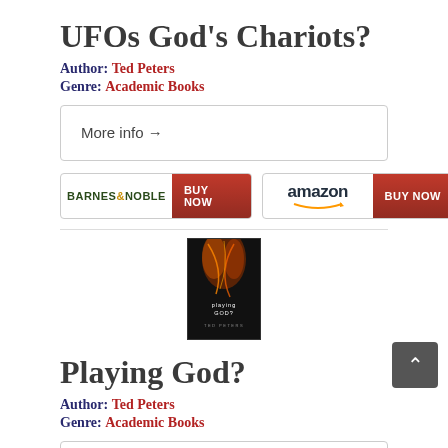UFOs God's Chariots?
Author: Ted Peters
Genre: Academic Books
More info →
[Figure (other): Barnes & Noble BUY NOW button]
[Figure (other): Amazon BUY NOW button]
[Figure (photo): Book cover for Playing God? by Ted Peters — black cover with orange/gold light streaks and text]
Playing God?
Author: Ted Peters
Genre: Academic Books
More info →